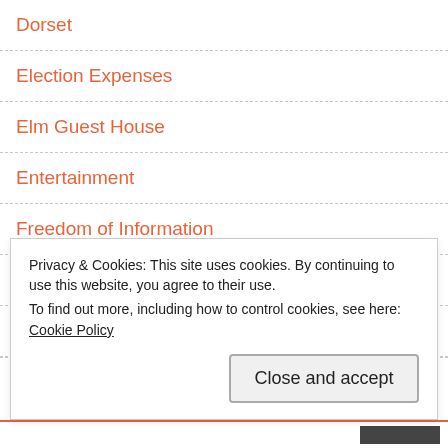Dorset
Election Expenses
Elm Guest House
Entertainment
Freedom of Information
Government
Grafton Close Care Home
Privacy & Cookies: This site uses cookies. By continuing to use this website, you agree to their use. To find out more, including how to control cookies, see here: Cookie Policy
Close and accept